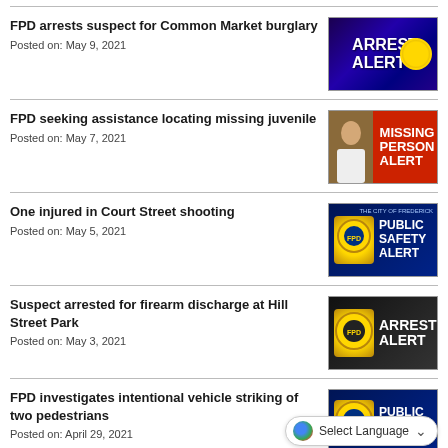[Figure (photo): Arrest Alert graphic with dark blue/purple background and badge]
FPD arrests suspect for Common Market burglary
Posted on: May 9, 2021
[Figure (photo): Missing Person Alert graphic with red background and person photo]
FPD seeking assistance locating missing juvenile
Posted on: May 7, 2021
[Figure (photo): Public Safety Alert graphic with dark blue background and Frederick Police badge]
One injured in Court Street shooting
Posted on: May 5, 2021
[Figure (photo): Arrest Alert graphic with dark background and Frederick Police badge]
Suspect arrested for firearm discharge at Hill Street Park
Posted on: May 3, 2021
[Figure (photo): Public Safety Alert graphic with dark blue background, partially visible]
FPD investigates intentional vehicle striking of two pedestrians
Posted on: April 29, 2021